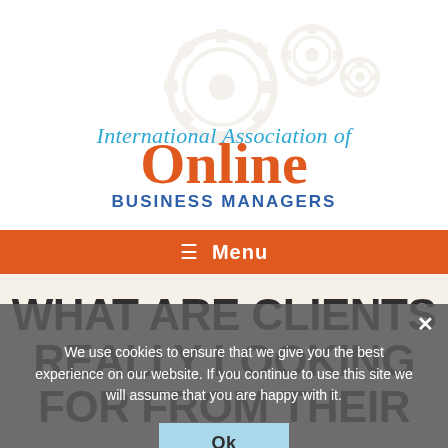[Figure (logo): International Association of Online Business Managers logo with gear icons in background. Text: 'International Association of' in blue cursive, 'Online' in large orange serif, 'BUSINESS MANAGERS' in bold blue sans-serif.]
≡  Menu
WHAT ARE CLIENTS REALLY LOOKING FOR FROM THEIR VA?
We use cookies to ensure that we give you the best experience on our website. If you continue to use this site we will assume that you are happy with it.
Ok